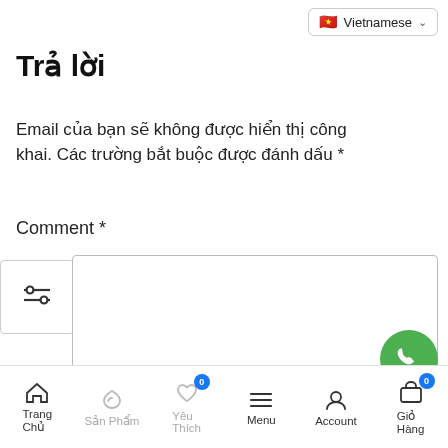Vietnamese
Trả lời
Email của bạn sẽ không được hiển thị công khai. Các trường bắt buộc được đánh dấu *
Comment *
[Figure (screenshot): Text area input box for comment]
[Figure (infographic): Filter/settings icon button]
[Figure (infographic): Green phone call floating action button]
[Figure (infographic): Blue Facebook Messenger floating action button]
[Figure (infographic): Blue Zalo floating action button]
[Figure (infographic): Dark scroll-to-top floating action button]
Trang Chủ  Sản Phẩm  Yêu Thích  Menu  Account  Giỏ Hàng